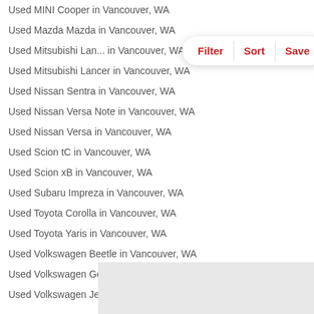Used MINI Cooper in Vancouver, WA
Used Mazda Mazda in Vancouver, WA
Used Mitsubishi Lan... in Vancouver, WA
Used Mitsubishi Lancer in Vancouver, WA
Used Nissan Sentra in Vancouver, WA
Used Nissan Versa Note in Vancouver, WA
Used Nissan Versa in Vancouver, WA
Used Scion tC in Vancouver, WA
Used Scion xB in Vancouver, WA
Used Subaru Impreza in Vancouver, WA
Used Toyota Corolla in Vancouver, WA
Used Toyota Yaris in Vancouver, WA
Used Volkswagen Beetle in Vancouver, WA
Used Volkswagen Golf in Vancouver, WA
Used Volkswagen Jetta in Vancouver, WA
Chevrolet Models in Washington
Used Chevrolet Avalanche in Vancouver, WA
Used Chevrolet Camaro in Vancouver, WA